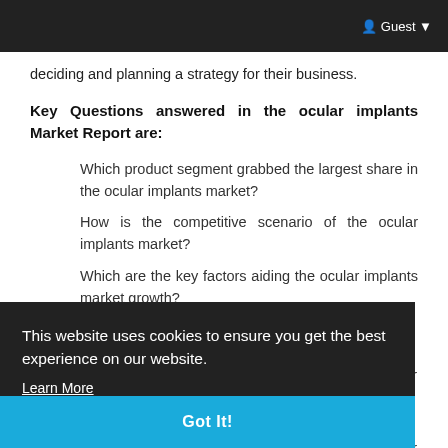Guest
deciding and planning a strategy for their business.
Key Questions answered in the ocular implants Market Report are:
Which product segment grabbed the largest share in the ocular implants market?
How is the competitive scenario of the ocular implants market?
Which are the key factors aiding the ocular implants market growth?
This website uses cookies to ensure you get the best experience on our website.
Learn More
Got It!
Which are the prominent players in the ocular